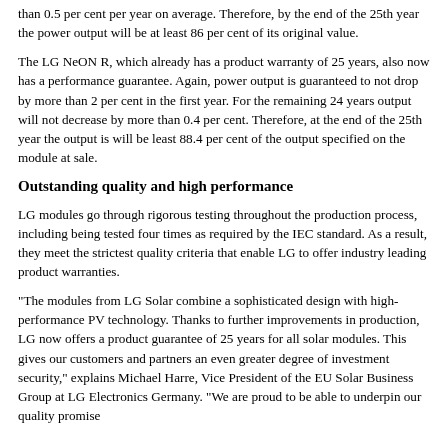than 0.5 per cent per year on average. Therefore, by the end of the 25th year the power output will be at least 86 per cent of its original value.
The LG NeON R, which already has a product warranty of 25 years, also now has a performance guarantee. Again, power output is guaranteed to not drop by more than 2 per cent in the first year. For the remaining 24 years output will not decrease by more than 0.4 per cent. Therefore, at the end of the 25th year the output is will be least 88.4 per cent of the output specified on the module at sale.
Outstanding quality and high performance
LG modules go through rigorous testing throughout the production process, including being tested four times as required by the IEC standard. As a result, they meet the strictest quality criteria that enable LG to offer industry leading product warranties.
"The modules from LG Solar combine a sophisticated design with high-performance PV technology. Thanks to further improvements in production, LG now offers a product guarantee of 25 years for all solar modules. This gives our customers and partners an even greater degree of investment security," explains Michael Harre, Vice President of the EU Solar Business Group at LG Electronics Germany. "We are proud to be able to underpin our quality promise